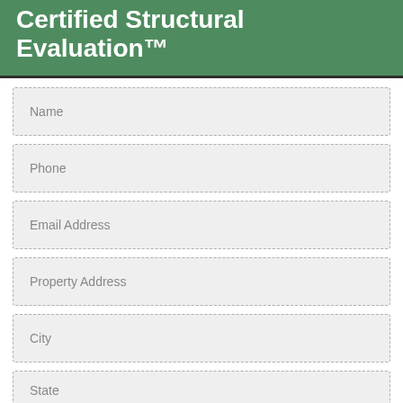Certified Structural Evaluation™
Name
Phone
Email Address
Property Address
City
State